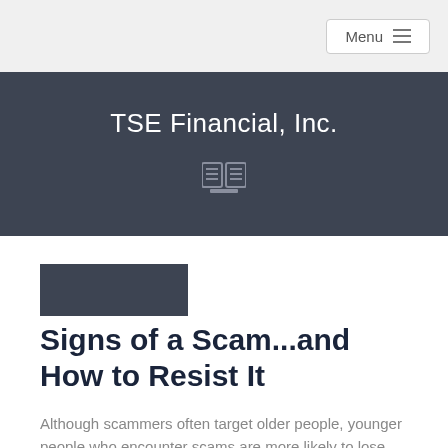Menu
TSE Financial, Inc.
[Figure (illustration): Small newspaper/reader icon in gray]
Signs of a Scam...and How to Resist It
Although scammers often target older people, younger people who encounter scams are more likely to lose money to fraud, perhaps because they